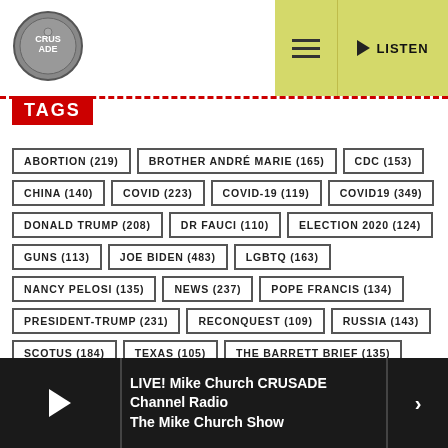[Figure (logo): Crusade Channel circular logo]
[Figure (other): Navigation bar with hamburger menu and LISTEN button on yellow-green background]
TAGS
ABORTION (219)
BROTHER ANDRÉ MARIE (165)
CDC (153)
CHINA (140)
COVID (223)
COVID-19 (119)
COVID19 (349)
DONALD TRUMP (208)
DR FAUCI (110)
ELECTION 2020 (124)
GUNS (113)
JOE BIDEN (483)
LGBTQ (163)
NANCY PELOSI (135)
NEWS (237)
POPE FRANCIS (134)
PRESIDENT-TRUMP (231)
RECONQUEST (109)
RUSSIA (143)
SCOTUS (184)
TEXAS (105)
THE BARRETT BRIEF (135)
THE EARLY SHOW (135)
TRUMP (259)
TWITTER (113)
WISDOM WEDNESDAY (127)
LIVE! Mike Church CRUSADE Channel Radio The Mike Church Show